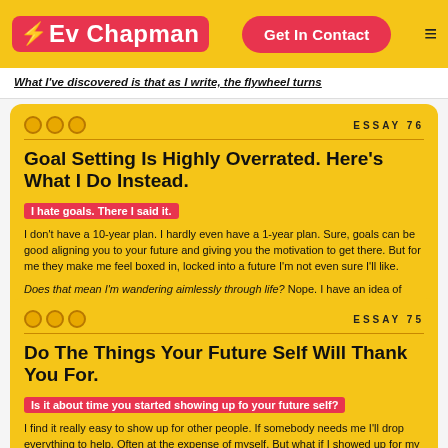Ev Chapman | Get In Contact
What I've discovered is that as I write, the flywheel turns
ESSAY 76
Goal Setting Is Highly Overrated. Here's What I Do Instead.
I hate goals. There I said it.
I don't have a 10-year plan. I hardly even have a 1-year plan. Sure, goals can be good aligning you to your future and giving you the motivation to get there. But for me they make me feel boxed in, locked into a future I'm not even sure I'll like.
Does that mean I'm wandering aimlessly through life? Nope. I have an idea of WHO I want to be in the future and each day is an opportunity to iterate on that future.
ESSAY 75
Do The Things Your Future Self Will Thank You For.
Is it about time you started showing up fo your future self?
I find it really easy to show up for other people. If somebody needs me I'll drop everything to help. Often at the expense of myself. But what if I showed up for my future self? That girl who's me tomorrow or this